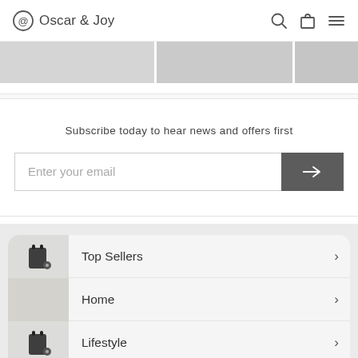Oscar & Joy
[Figure (photo): Partial product image strip showing three cropped product images side by side]
Subscribe today to hear news and offers first
Enter your email
Top Sellers
Home
Lifestyle